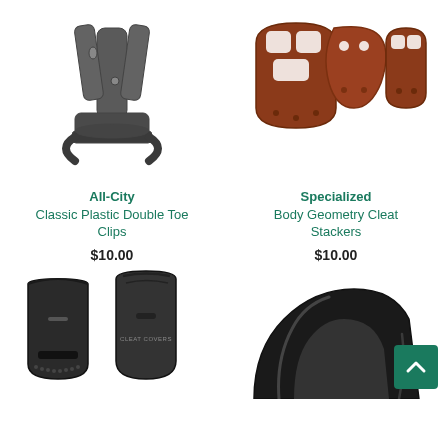[Figure (photo): All-City Classic Plastic Double Toe Clips - dark gray metal toe clip product photo]
All-City
Classic Plastic Double Toe Clips
$10.00
[Figure (photo): Specialized Body Geometry Cleat Stackers - three brown/rust colored cleat stacker pieces]
Specialized
Body Geometry Cleat Stackers
$10.00
[Figure (photo): Bottom left product - two black cleat covers partially visible]
[Figure (photo): Bottom right product - black ergonomic shaped cycling accessory partially visible]